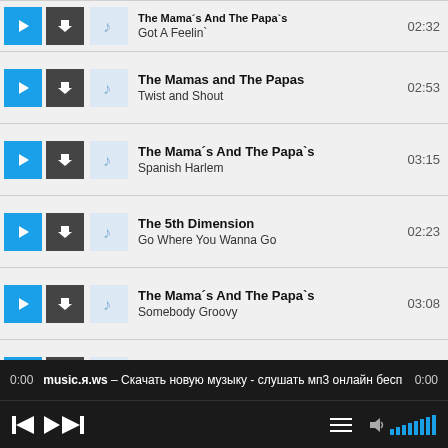The Mama's And The Papa's – Got A Feelin` – 02:32
The Mamas and The Papas – Twist and Shout – 02:53
The Mama´s And The Papa`s – Spanish Harlem – 03:15
The 5th Dimension – Go Where You Wanna Go – 02:23
The Mama´s And The Papa`s – Somebody Groovy – 03:08
Playin' Buzzed – Creeque Alley – 03:46
The Mama´s And The Papa`s – The "In" Crowd – 03:10
0:00  music.я.ws – Скачать новую музыку - слушать мп3 онлайн бесп  0:00